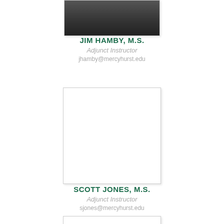[Figure (photo): Partial photo of Jim Hamby (top of image cropped at page top), man in suit]
JIM HAMBY, M.S.
Adjunct Instructor
jhamby@mercyhurst.edu
[Figure (photo): Placeholder photo box for Scott Jones (blank/white)]
SCOTT JONES, M.S.
Adjunct Instructor
sjones@mercyhurst.edu
[Figure (photo): Partial placeholder photo box (cropped at page bottom)]